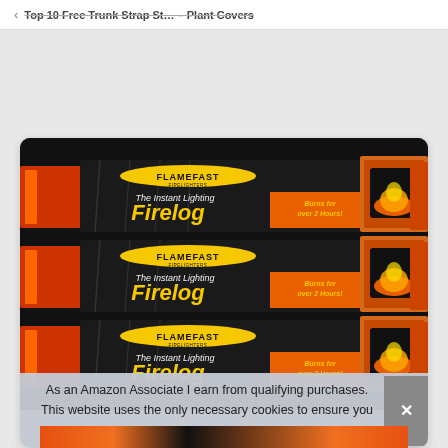Top 10 Free Trunk Strap St... – Plant Covers
[Figure (photo): Three stacked Flamefast Firelog packages. Each black package shows the FLAMEFAST FIRELIGHTERS logo, text 'The Instant Lighting Firelog' and 'Burns for over 2 Hours!' in yellow lettering, with an image of a fireplace on the right side. The packages are stacked on top of each other with orange/red side accents visible.]
As an Amazon Associate I earn from qualifying purchases. This website uses the only necessary cookies to ensure you get the best experience on our website. More information